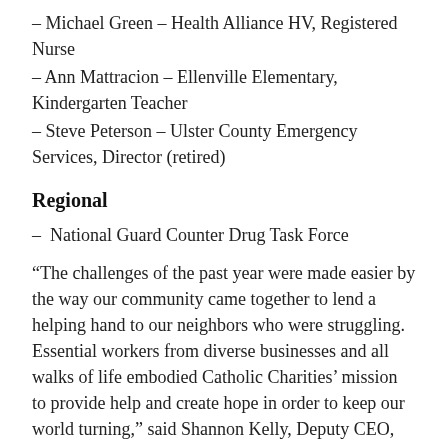– Michael Green – Health Alliance HV, Registered Nurse
– Ann Mattracion – Ellenville Elementary, Kindergarten Teacher
– Steve Peterson – Ulster County Emergency Services, Director (retired)
Regional
–  National Guard Counter Drug Task Force
“The challenges of the past year were made easier by the way our community came together to lend a helping hand to our neighbors who were struggling. Essential workers from diverse businesses and all walks of life embodied Catholic Charities’ mission to provide help and create hope in order to keep our world turning,” said Shannon Kelly, Deputy CEO, Catholic